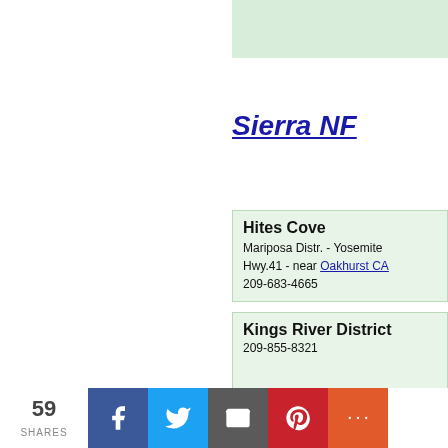[Figure (other): Green background box at top right of page]
Sierra NF
Hites Cove
Mariposa Distr. - Yosemite
Hwy.41 - near Oakhurst CA
209-683-4665
Kings River District
209-855-8321
Tamarack Ridge Sno-Park
Pineridge Distr. - Shaver Lake
59 SHARES